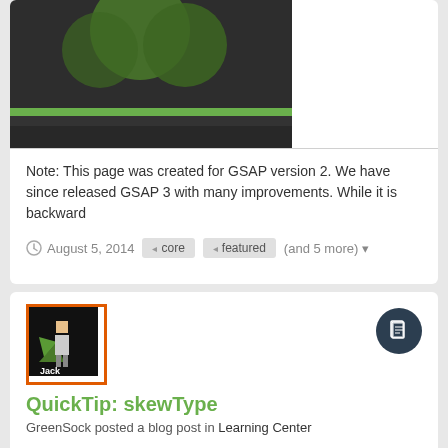[Figure (screenshot): Dark themed image with green circles and a green horizontal bar on dark background — top portion of a GSAP demo card]
Note: This page was created for GSAP version 2. We have since released GSAP 3 with many improvements. While it is backward
August 5, 2014
core
featured
(and 5 more)
[Figure (illustration): Avatar/logo image: black background with pixel-art superhero character labeled 'Jack' with green cape, orange border]
QuickTip: skewType
GreenSock posted a blog post in Learning Center
[Figure (screenshot): Dark background image showing large text 'QuickTip' with green highlighted 'Tip' portion, partial view]